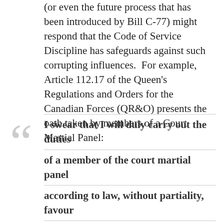(or even the future process that has been introduced by Bill C-77) might respond that the Code of Service Discipline has safeguards against such corrupting influences.  For example, Article 112.17 of the Queen's Regulations and Orders for the Canadian Forces (QR&O) presents the oath taken by members of a Court Martial Panel:
I swear that I will duly carry out the duties of a member of the court martial panel according to law, without partiality, favour or affection and make true findings according to the evidence; and I do further swear that I will not, at any time whatsoever, disclose the vote or opinion of any particular member of this court